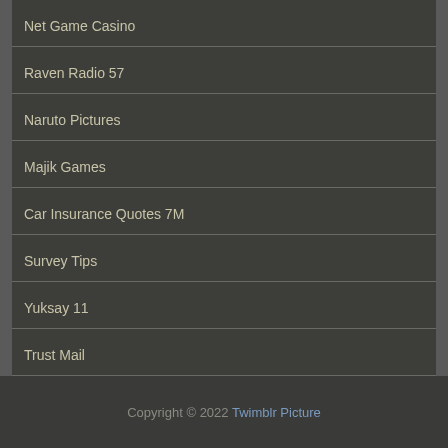Net Game Casino
Raven Radio 57
Naruto Pictures
Majik Games
Car Insurance Quotes 7M
Survey Tips
Yuksay 11
Trust Mail
Copyright © 2022 Twimblr Picture